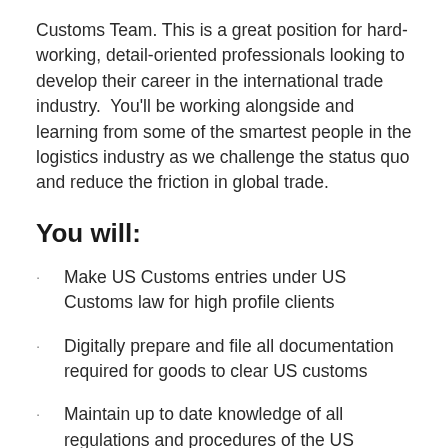Customs Team. This is a great position for hard-working, detail-oriented professionals looking to develop their career in the international trade industry. You'll be working alongside and learning from some of the smartest people in the logistics industry as we challenge the status quo and reduce the friction in global trade.
You will:
Make US Customs entries under US Customs law for high profile clients
Digitally prepare and file all documentation required for goods to clear US customs
Maintain up to date knowledge of all regulations and procedures of the US Customs, FDA, USDA and Other Government Agencies (OGA)